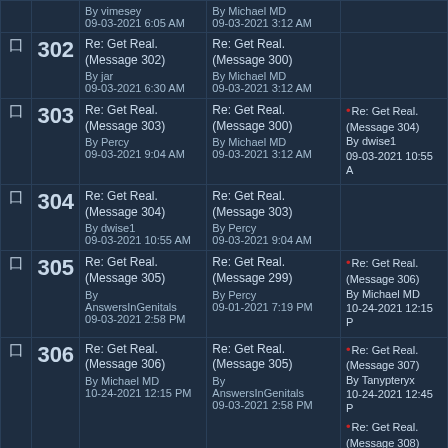|  | Num | Message | Parent | Replies |
| --- | --- | --- | --- | --- |
|  |  | By vimesey
09-03-2021 6:05 AM | By Michael MD
09-03-2021 3:12 AM |  |
| 🗇 | 302 | Re: Get Real.
(Message 302)
By jar
09-03-2021 6:30 AM | Re: Get Real.
(Message 300)
By Michael MD
09-03-2021 3:12 AM |  |
| 🗇 | 303 | Re: Get Real.
(Message 303)
By Percy
09-03-2021 9:04 AM | Re: Get Real.
(Message 300)
By Michael MD
09-03-2021 3:12 AM | •Re: Get Real.
(Message 304)
By dwise1
09-03-2021 10:55 A |
| 🗇 | 304 | Re: Get Real.
(Message 304)
By dwise1
09-03-2021 10:55 AM | Re: Get Real.
(Message 303)
By Percy
09-03-2021 9:04 AM |  |
| 🗇 | 305 | Re: Get Real.
(Message 305)
By AnswersInGenitals
09-03-2021 2:58 PM | Re: Get Real.
(Message 299)
By Percy
09-01-2021 7:19 PM | •Re: Get Real.
(Message 306)
By Michael MD
10-24-2021 12:15 P |
| 🗇 | 306 | Re: Get Real.
(Message 306)
By Michael MD
10-24-2021 12:15 PM | Re: Get Real.
(Message 305)
By AnswersInGenitals
09-03-2021 2:58 PM | •Re: Get Real.
(Message 307)
By Tanypteryx
10-24-2021 12:45 P
•Re: Get Real.
(Message 308)
By PaulK
10-24-2021 1:13 PM
•Real Dismissal
(Message 309)
By AZPaul3
10-24-2021 1:57 PM |